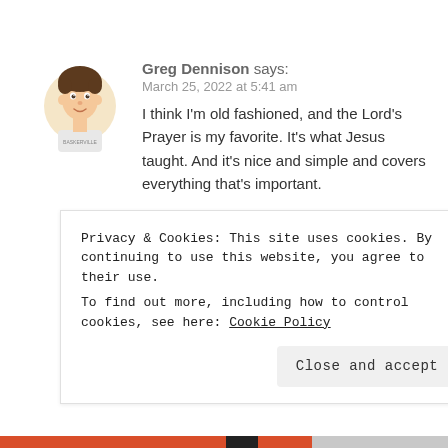[Figure (illustration): Cartoon bitmoji-style avatar of a young man with brown hair, wearing a white t-shirt with text on it]
Greg Dennison says:
March 25, 2022 at 5:41 am
I think I'm old fashioned, and the Lord's Prayer is my favorite. It's what Jesus taught. And it's nice and simple and covers everything that's important.

My grandma passed away a year ago. I
Privacy & Cookies: This site uses cookies. By continuing to use this website, you agree to their use.
To find out more, including how to control cookies, see here: Cookie Policy
Close and accept